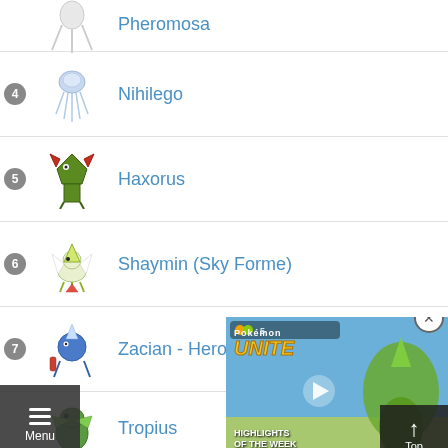Pheromosa
4 Nihilego
5 Haxorus
6 Shaymin (Sky Forme)
7 Zacian - Hero of Many
Tropius
[Figure (screenshot): Pokémon UNITE Highlights of the Week video ad overlay with close button, play button, and a green dinosaur-like Pokémon in background]
[Figure (other): Menu button overlay (hamburger menu icon with 'Menu' label)]
[Figure (other): Top button overlay with upward arrow and 'Top' label]